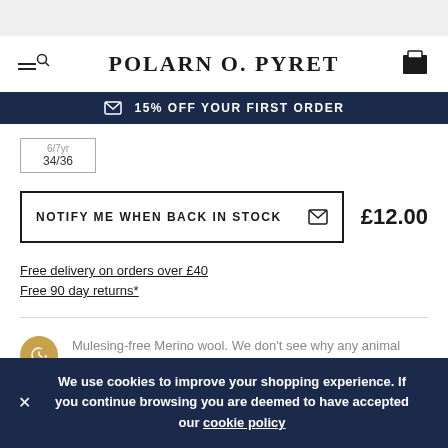POLARN O. PYRET
15% OFF YOUR FIRST ORDER
34/36
NOTIFY ME WHEN BACK IN STOCK   £12.00
Free delivery on orders over £40
Free 90 day returns*
Mulesing-free Merino wool. We don't see why any animal should suffer for clothing.
We use cookies to improve your shopping experience. If you continue browsing you are deemed to have accepted our cookie policy